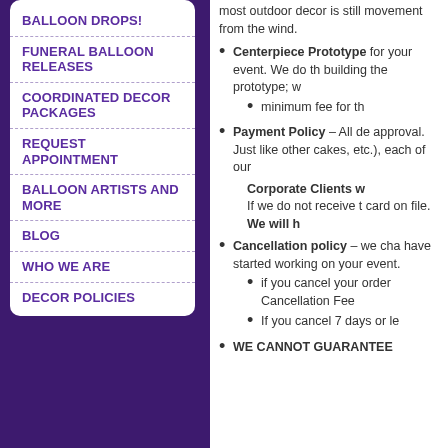BALLOON DROPS!
FUNERAL BALLOON RELEASES
COORDINATED DECOR PACKAGES
REQUEST APPOINTMENT
BALLOON ARTISTS AND MORE
BLOG
WHO WE ARE
DECOR POLICIES
most outdoor decor is still movement from the wind.
Centerpiece Prototype for your event. We do the building the prototype; w minimum fee for th
Payment Policy – All de approval. Just like other cakes, etc.), each of our
Corporate Clients w If we do not receive t card on file. We will h
Cancellation policy – we cha have started working on your event.
if you cancel your order Cancellation Fee
If you cancel 7 days or le
WE CANNOT GUARANTEE